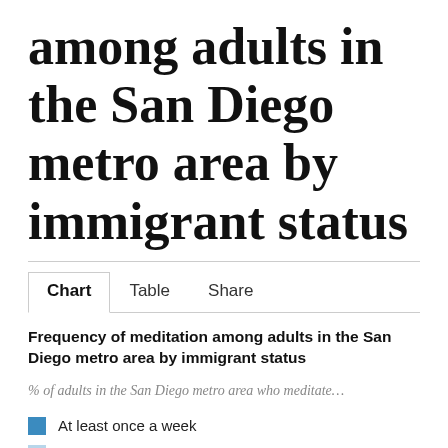among adults in the San Diego metro area by immigrant status
Chart   Table   Share
Frequency of meditation among adults in the San Diego metro area by immigrant status
% of adults in the San Diego metro area who meditate...
At least once a week
Once or twice a month
Several times a year